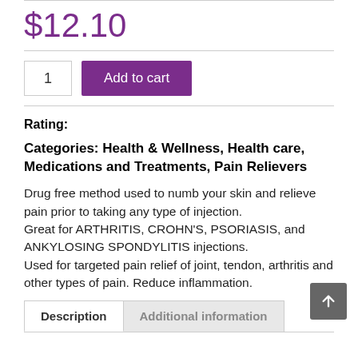$12.10
Rating:
Categories: Health & Wellness, Health care, Medications and Treatments, Pain Relievers
Drug free method used to numb your skin and relieve pain prior to taking any type of injection.
Great for ARTHRITIS, CROHN'S, PSORIASIS, and ANKYLOSING SPONDYLITIS injections.
Used for targeted pain relief of joint, tendon, arthritis and other types of pain. Reduce inflammation.
Description | Additional information